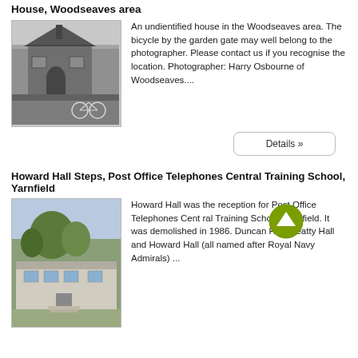House, Woodseaves area
[Figure (photo): Black and white photograph of an unidentified house in the Woodseaves area, with a bicycle by the garden gate.]
An undientified house in the Woodseaves area. The bicycle by the garden gate may well belong to the photographer. Please contact us if you recognise the location. Photographer: Harry Osbourne of Woodseaves....
Details »
Howard Hall Steps, Post Office Telephones Central Training School, Yarnfield
[Figure (photo): Colour photograph of Howard Hall at the Post Office Telephones Central Training School, Yarnfield, showing a building with trees and gardens.]
Howard Hall was the reception for Post Office Telephones Central Training School, Yarnfield. It was demolished in 1986. Duncan Hall, Beatty Hall and Howard Hall (all named after Royal Navy Admirals) ...